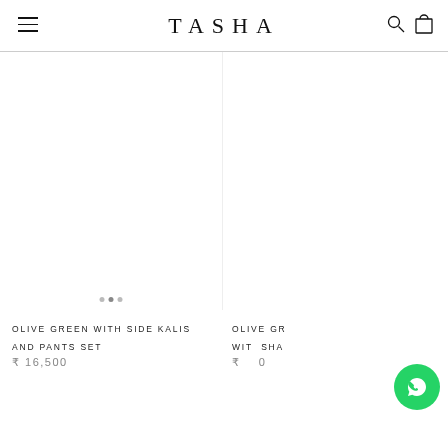TASHA
[Figure (photo): Product image area for Olive Green With Side Kalis And Pants Set — white/blank product photo placeholder]
OLIVE GREEN WITH SIDE KALIS AND PANTS SET
₹ 16,500
[Figure (photo): Partially visible product image area for second product (Olive Green With Sha...) on the right side]
OLIVE GR... WITH SHA...
₹ ...0